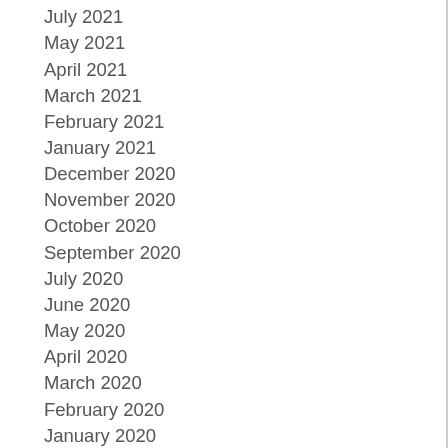July 2021
May 2021
April 2021
March 2021
February 2021
January 2021
December 2020
November 2020
October 2020
September 2020
July 2020
June 2020
May 2020
April 2020
March 2020
February 2020
January 2020
December 2019
November 2019
October 2019
September 2019
July 2019